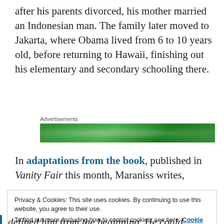after his parents divorced, his mother married an Indonesian man. The family later moved to Jakarta, where Obama lived from 6 to 10 years old, before returning to Hawaii, finishing out his elementary and secondary schooling there.
[Figure (other): Green advertisement banner with label 'Advertisements']
In adaptations from the book, published in Vanity Fair this month, Maraniss writes,
Privacy & Cookies: This site uses cookies. By continuing to use this website, you agree to their use.
To find out more, including how to control cookies, see here: Cookie Policy
defined him from the beginning. He could